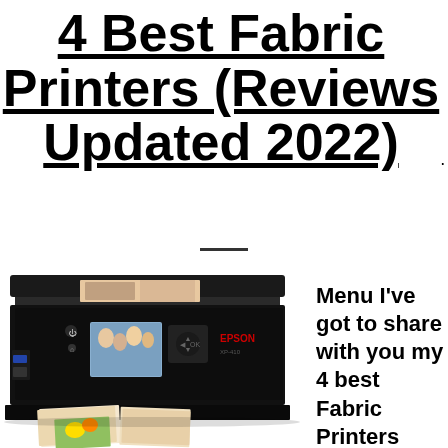4 Best Fabric Printers (Reviews Updated 2022)
[Figure (photo): Epson inkjet all-in-one printer (model XP-410) shown in black with a family photo being printed, displayed on a white background.]
Menu I've got to share with you my 4 best Fabric Printers